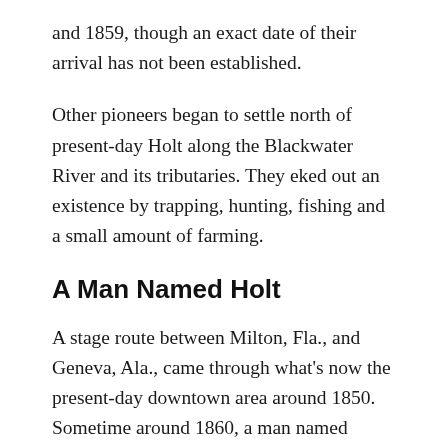and 1859, though an exact date of their arrival has not been established.
Other pioneers began to settle north of present-day Holt along the Blackwater River and its tributaries. They eked out an existence by trapping, hunting, fishing and a small amount of farming.
A Man Named Holt
A stage route between Milton, Fla., and Geneva, Ala., came through what's now the present-day downtown area around 1850. Sometime around 1860, a man named David Holt built a small log cabin along the route near what is now the intersection of Main Street and the railroad tracks, several years before the railroad came